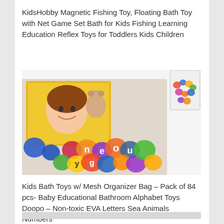KidsHobby Magnetic Fishing Toy, Floating Bath Toy with Net Game Set Bath for Kids Fishing Learning Education Reflex Toys for Toddlers Kids Children
[Figure (photo): Product photo showing colorful foam bath letters and numbers scattered in the foreground with a product box featuring a smiling girl and a mesh bag with the toys in the upper right]
Kids Bath Toys w/ Mesh Organizer Bag – Pack of 84 pcs- Baby Educational Bathroom Alphabet Toys Doopo – Non-toxic EVA Letters Sea Animals Numbers